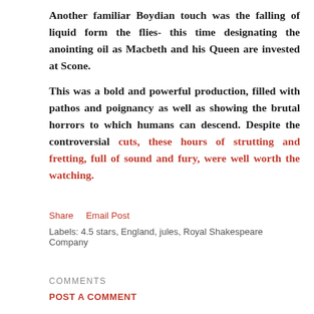Another familiar Boydian touch was the falling of liquid form the flies- this time designating the anointing oil as Macbeth and his Queen are invested at Scone.
This was a bold and powerful production, filled with pathos and poignancy as well as showing the brutal horrors to which humans can descend. Despite the controversial cuts, these hours of strutting and fretting, full of sound and fury, were well worth the watching.
Share   Email Post
Labels: 4.5 stars, England, jules, Royal Shakespeare Company
COMMENTS
POST A COMMENT